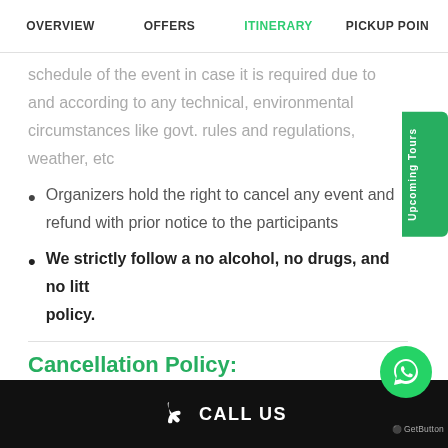OVERVIEW | OFFERS | ITINERARY | PICKUP POINT
schedule of the event in case it is required due to and according to any technical, environmental circumstances like govt. rules and regulations, weather, etc
Organizers hold the right to cancel any event and refund with prior notice to the participants
We strictly follow a no alcohol, no drugs, and no litter policy.
Cancellation Policy: